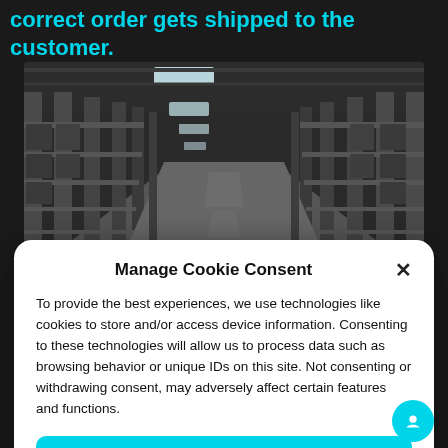correct order gets shipped to the customer.
[Figure (photo): Interior of a large warehouse with tall metal shelving racks filled with goods, illuminated by overhead fluorescent lights, perspective view down a central aisle.]
Manage Cookie Consent
To provide the best experiences, we use technologies like cookies to store and/or access device information. Consenting to these technologies will allow us to process data such as browsing behavior or unique IDs on this site. Not consenting or withdrawing consent, may adversely affect certain features and functions.
ACCEPT
Privacy Policy